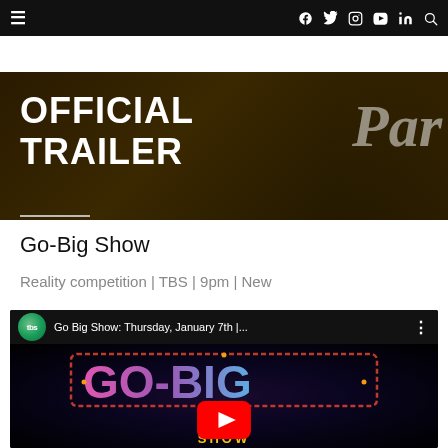≡   f  twitter  instagram  youtube  in  search
[Figure (screenshot): Banner image showing OFFICIAL TRAILER text in bold white over a dark background with partial word 'Par' in script font on right side]
Go-Big Show
Reality competition | TBS | 9pm | New
[Figure (screenshot): YouTube video thumbnail for 'Go Big Show: Thursday, January 7th |...' with TBS channel logo, showing GO-BIG neon sign in colorful lights against dark background, with YouTube play button overlay]